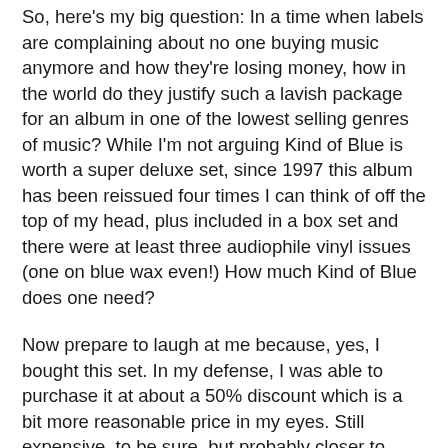So, here's my big question: In a time when labels are complaining about no one buying music anymore and how they're losing money, how in the world do they justify such a lavish package for an album in one of the lowest selling genres of music? While I'm not arguing Kind of Blue is worth a super deluxe set, since 1997 this album has been reissued four times I can think of off the top of my head, plus included in a box set and there were at least three audiophile vinyl issues (one on blue wax even!) How much Kind of Blue does one need?
Now prepare to laugh at me because, yes, I bought this set. In my defense, I was able to purchase it at about a 50% discount which is a bit more reasonable price in my eyes. Still expensive, to be sure, but probably closer to what this set should cost than what they're asking.
Is it a nice set? Yes...but, something went seriously wrong in the packaging department at Sony. You have the book, then you have a gatefold LP jacket with the record in the left pocket and the discs tucked in pockets on the right inside. Even under the best circumstances, these discs would get